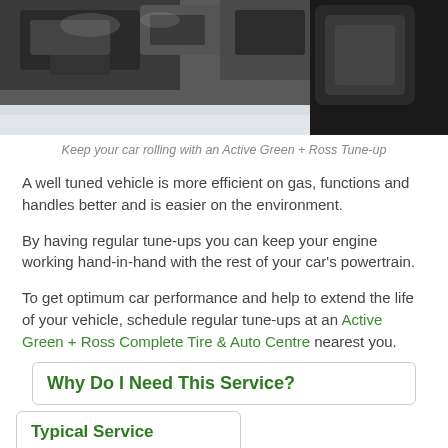[Figure (photo): Close-up photo of a car engine bay, showing engine components in dark tones against a light hood.]
Keep your car rolling with an Active Green + Ross Tune-up
A well tuned vehicle is more efficient on gas, functions and handles better and is easier on the environment.
By having regular tune-ups you can keep your engine working hand-in-hand with the rest of your car's powertrain.
To get optimum car performance and help to extend the life of your vehicle, schedule regular tune-ups at an Active Green + Ross Complete Tire & Auto Centre nearest you.
Why Do I Need This Service?
Typical Service